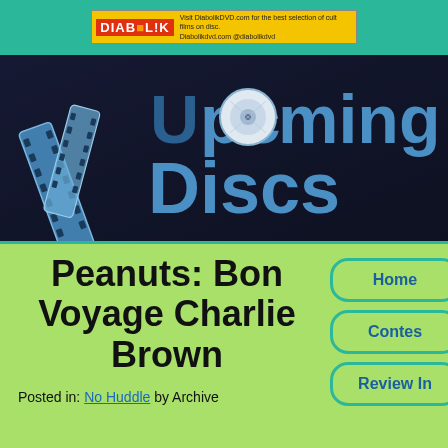[Figure (logo): Diabolik DVD banner advertisement with yellow background, red logo text DIABOLIK with skull graphic, and small text 'Visit DiabolikDVD.com for the best selection of cult films on disc. Diabolikdvd.com/diabolikdvd @Diabolikdvd']
[Figure (logo): Upcoming Discs website logo on dark background, showing a film reel strip wrapping around the U, with a DVD disc replacing the 'o' in 'Upcoming', blue metallic 3D text reading 'Upcoming Discs']
Peanuts: Bon Voyage Charlie Brown
Posted in: No Huddle by Archive
Home
Contes
Review In